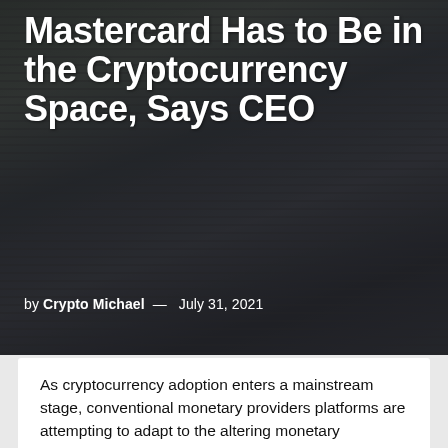Mastercard Has to Be in the Cryptocurrency Space, Says CEO
by Crypto Michael — July 31, 2021
As cryptocurrency adoption enters a mainstream stage, conventional monetary providers platforms are attempting to adapt to the altering monetary ecosystem.
To take care of their significance on this trade, fee processors like Mastercard and Visa intend to make use of their giant shopper base and worldwide attain to draw each authorities and personal entities when they’re testing their CBDC or stablecoin tasks.